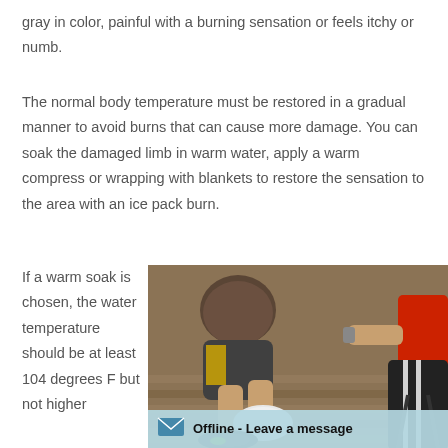gray in color, painful with a burning sensation or feels itchy or numb.
The normal body temperature must be restored in a gradual manner to avoid burns that can cause more damage. You can soak the damaged limb in warm water, apply a warm compress or wrapping with blankets to restore the sensation to the area with an ice pack burn.
If a warm soak is chosen, the water temperature should be at least 104 degrees F but not higher
[Figure (photo): A person applying what appears to be an ice pack or compress to someone's ankle/foot area, with another person in athletic wear nearby. Wooden floor visible in background.]
Offline - Leave a message